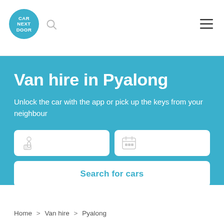Car Next Door — navigation bar with logo, search icon, and hamburger menu
Van hire in Pyalong
Unlock the car with the app or pick up the keys from your neighbour
[Figure (screenshot): Location and date search input fields with icons, and a 'Search for cars' button]
Home > Van hire > Pyalong